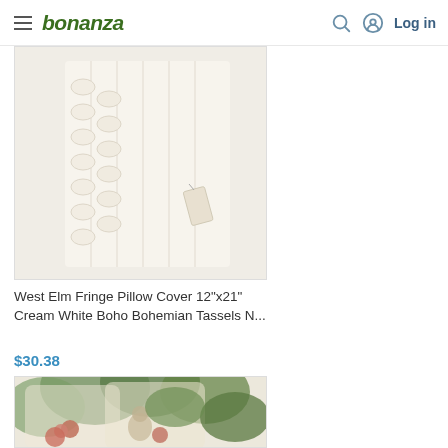bonanza — Log in
[Figure (photo): Cream white fringe pillow cover with tassels on a light background, product tag visible]
West Elm Fringe Pillow Cover 12"x21" Cream White Boho Bohemian Tassels N...
$30.38
[Figure (photo): Tropical floral print throw pillows with monkey and leaf pattern in green, pink, and beige]